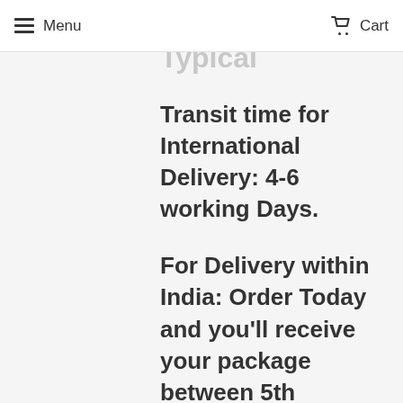Menu  Cart
can be chosen. Typical
Transit time for International Delivery: 4-6 working Days.
For Delivery within India: Order Today and you'll receive your package between 5th September (Monday) and 6th September (Tuesday).